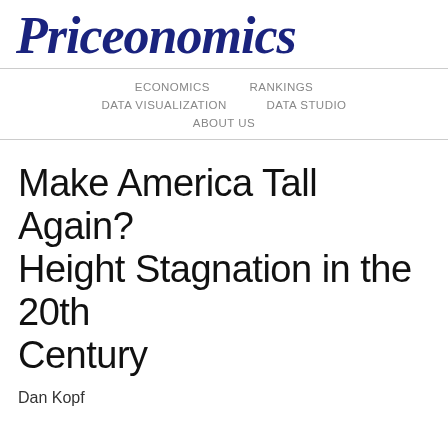PRICEONOMICS
ECONOMICS   RANKINGS   DATA VISUALIZATION   DATA STUDIO   ABOUT US
Make America Tall Again? Height Stagnation in the 20th Century
Dan Kopf